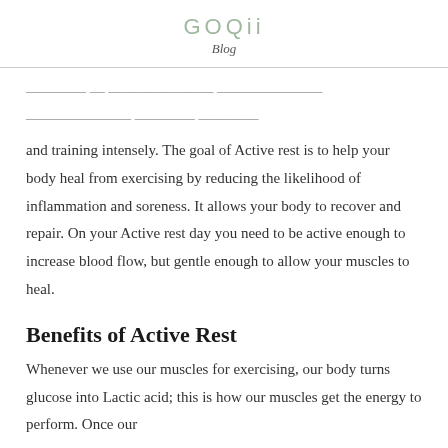GOQii
Blog
...is the perfect space between being idle and training intensely. The goal of Active rest is to help your body heal from exercising by reducing the likelihood of inflammation and soreness. It allows your body to recover and repair. On your Active rest day you need to be active enough to increase blood flow, but gentle enough to allow your muscles to heal.
Benefits of Active Rest
Whenever we use our muscles for exercising, our body turns glucose into Lactic acid; this is how our muscles get the energy to perform. Once our